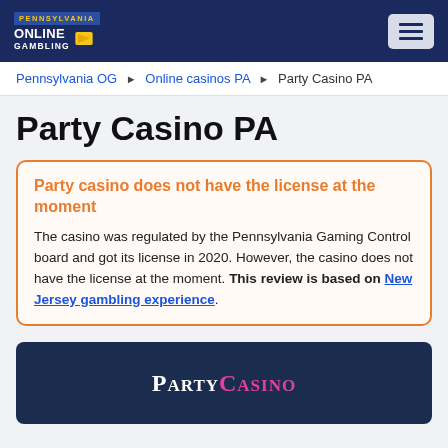Pennsylvania Online Gambling — navigation header with hamburger menu
Pennsylvania OG ▶ Online casinos PA ▶ Party Casino PA
Party Casino PA
Party casino does not have the license at the moment
The casino was regulated by the Pennsylvania Gaming Control board and got its license in 2020. However, the casino does not have the license at the moment. This review is based on New Jersey gambling experience.
[Figure (logo): PartyCasino logo — white and pink text on dark navy background]